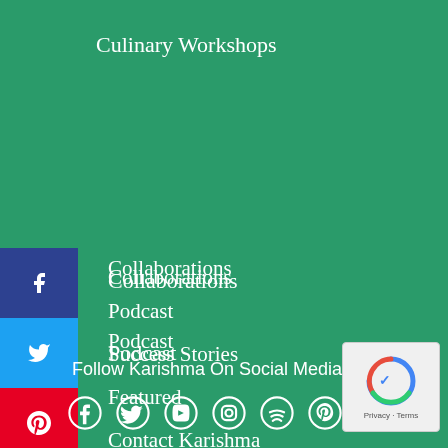Culinary Workshops
Collaborations
Podcast
Success Stories
Featured
Contact Karishma
Follow Karishma On Social Media
[Figure (infographic): Social media share buttons sidebar: Facebook (dark blue), Twitter (blue), Pinterest (red), Google+ (red-orange), Reddit (grey), Digg (black)]
[Figure (infographic): Social media icons row: Facebook, Twitter, YouTube, Instagram, Spotify, Pinterest, LinkedIn]
[Figure (other): reCAPTCHA widget with Privacy and Terms text]